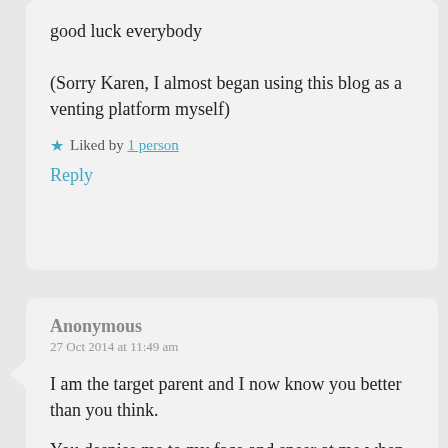good luck everybody

(Sorry Karen, I almost began using this blog as a venting platform myself)
Liked by 1 person
Reply
Anonymous
27 Oct 2014 at 11:49 am
I am the target parent and I now know you better than you think.
You despise me to my face and sneer at me when no-one else is looking so that others can document that...